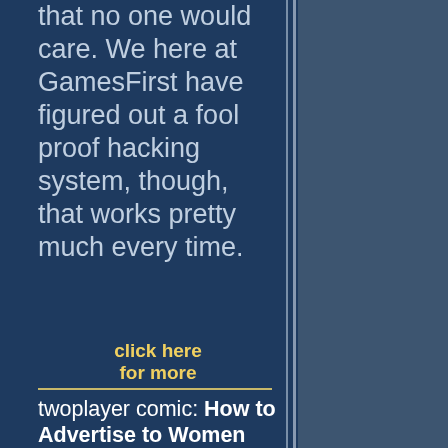that no one would care. We here at GamesFirst have figured out a fool proof hacking system, though, that works pretty much every time.
click here for more
twoplayer comic: How to Advertise to Women
comic | 09/11/05 | Aaron